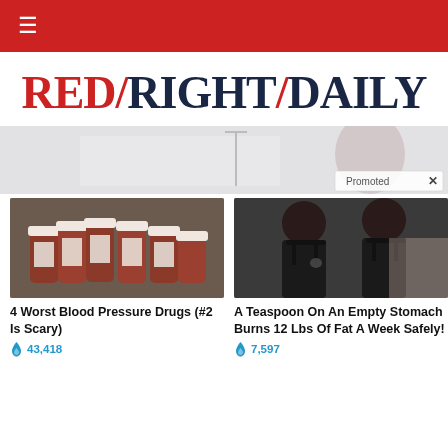≡
RED/RIGHT/DAILY
[Figure (photo): Advertisement banner image showing partial view with a 'Promoted' badge and close button]
[Figure (photo): Photo of multiple brown prescription medicine bottles arranged in a fan]
4 Worst Blood Pressure Drugs (#2 Is Scary)
🔥 43,418
[Figure (photo): Photo of two women from behind showing weight loss transformation, wearing black bras]
A Teaspoon On An Empty Stomach Burns 12 Lbs Of Fat A Week Safely!
🔥 7,597